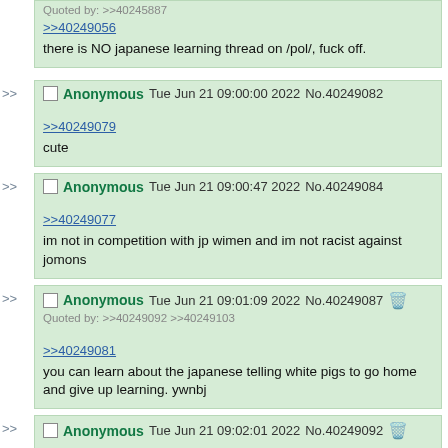Quoted by: >>40245887
>>40249056
there is NO japanese learning thread on /pol/, fuck off.
Anonymous Tue Jun 21 09:00:00 2022 No.40249082
>>40249079
cute
Anonymous Tue Jun 21 09:00:47 2022 No.40249084
>>40249077
im not in competition with jp wimen and im not racist against jomons
Anonymous Tue Jun 21 09:01:09 2022 No.40249087
Quoted by: >>40249092 >>40249103
>>40249081
you can learn about the japanese telling white pigs to go home and give up learning. ywnbj
Anonymous Tue Jun 21 09:02:01 2022 No.40249092 [partial]